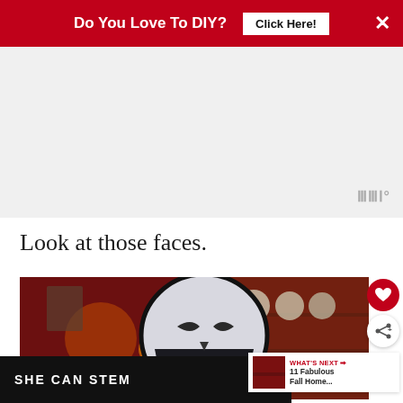Do You Love To DIY? [Click Here!] ×
[Figure (other): Ad placeholder area with grey background and a watermark logo in bottom right]
Look at those faces.
[Figure (photo): Photo of a decorative skull-shaped painted wood slice against a blurred dark red interior background with shelves and warm lights]
WHAT'S NEXT → 11 Fabulous Fall Home...
SHE CAN STEM